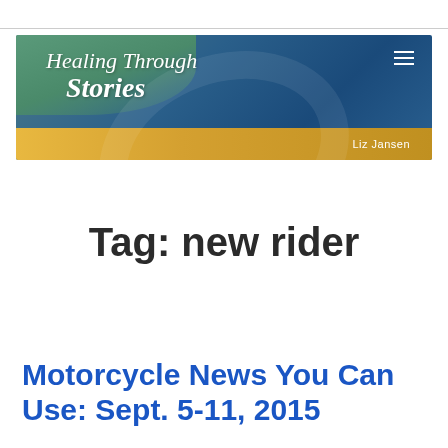[Figure (illustration): Website banner for 'Healing Through Stories' by Liz Jansen, with teal and blue gradient background, yellow strip at bottom, script-style white text, and hamburger menu icon]
Tag: new rider
Motorcycle News You Can Use: Sept. 5-11, 2015